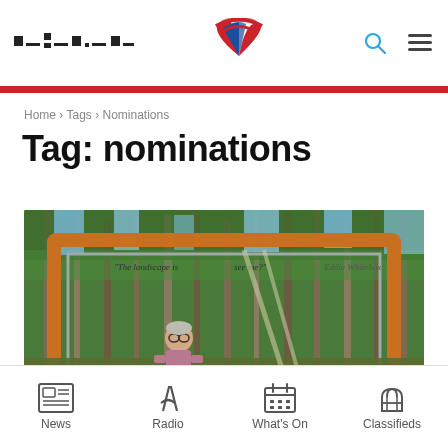[News site logo with stylized fan/burst icon in red/blue, dotted text logo, search icon, hamburger menu]
Home › Tags › Nominations
Tag: nominations
[Figure (photo): A woman standing in front of a large orange-framed artwork/installation in a bushland forest setting with tall eucalyptus trees and blue sky. The frame has text written across the top. The image is partially cropped.]
News | Radio | What's On | Classifieds